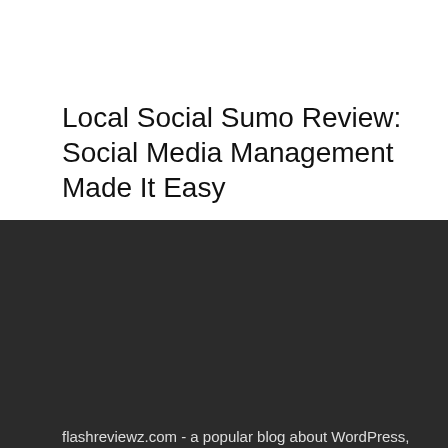Local Social Sumo Review: Social Media Management Made It Easy
About The Author
[Figure (photo): Circular portrait photo of David Vu, a young man in a dark suit standing against a wall with shuttered windows]
David Vu
David Vu is a young online marketer who loves music, guitar, and playing around on the magical internet machine. He is the founder / owner at flashreviewz.com - a popular blog about WordPress, SEO, Web Design and Digital Marketing. Expect lots of